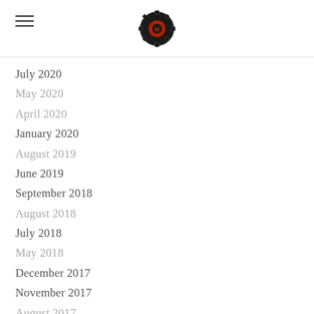Hector's Media
July 2020
May 2020
April 2020
January 2020
August 2019
June 2019
September 2018
August 2018
July 2018
May 2018
December 2017
November 2017
August 2017
July 2017
June 2017
May 2017
April 2017
March 2017